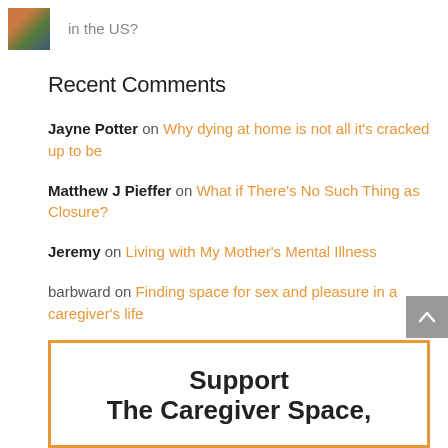[Figure (photo): Small thumbnail photo of a person or scene]
in the US?
Recent Comments
Jayne Potter on Why dying at home is not all it's cracked up to be
Matthew J Pieffer on What if There's No Such Thing as Closure?
Jeremy on Living with My Mother's Mental Illness
barbward on Finding space for sex and pleasure in a caregiver's life
barbward on Asking For Help
Support The Caregiver Space,